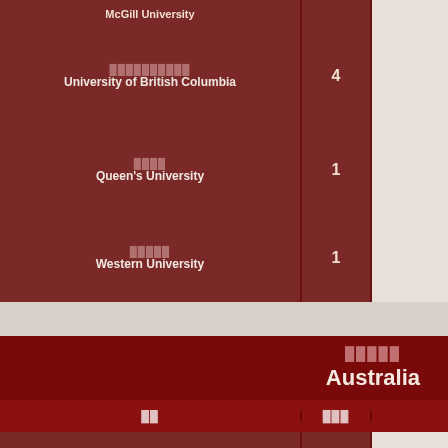| 大学名 | 論文数 |  |
| --- | --- | --- |
| McGill University |  |  |
| University of British Columbia | 4 |  |
| Queen's University | 1 |  |
| Western University | 1 |  |
国名: Australia
| 大学 | 論文数 |  |
| --- | --- | --- |
| The University of Melbourne | 17 |  |